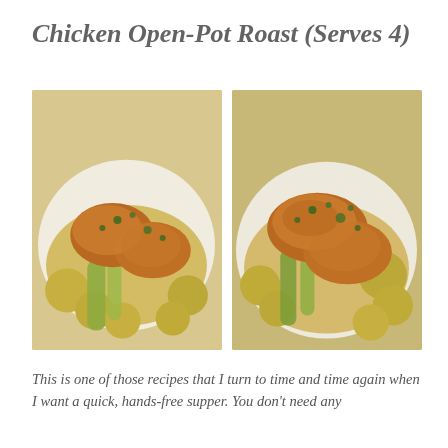Chicken Open-Pot Roast (Serves 4)
[Figure (photo): Two side-by-side food photographs showing chicken open-pot roast with golden-brown chicken thighs, small potatoes, leeks, and golden sauce garnished with herbs, served on white plates.]
This is one of those recipes that I turn to time and time again when I want a quick, hands-free supper. You don't need any